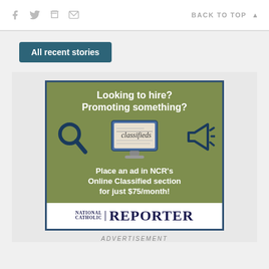f  (twitter)  (print)  (email)    BACK TO TOP ▲
All recent stories
[Figure (illustration): Advertisement for National Catholic Reporter Online Classified section. Green background with magnifying glass icon on left, monitor screen showing 'classifieds' in center, megaphone icon on right. Text: 'Looking to hire? Promoting something? Place an ad in NCR's Online Classified section for just $75/month!' with National Catholic Reporter logo at bottom.]
ADVERTISEMENT